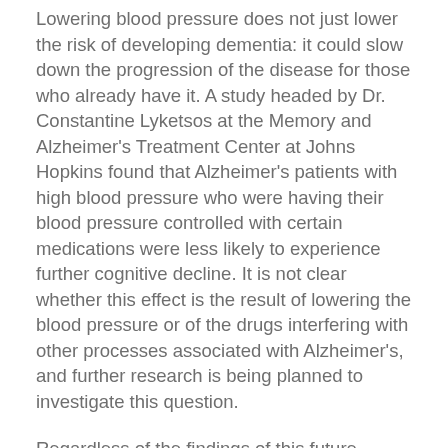Lowering blood pressure does not just lower the risk of developing dementia: it could slow down the progression of the disease for those who already have it. A study headed by Dr. Constantine Lyketsos at the Memory and Alzheimer's Treatment Center at Johns Hopkins found that Alzheimer's patients with high blood pressure who were having their blood pressure controlled with certain medications were less likely to experience further cognitive decline. It is not clear whether this effect is the result of lowering the blood pressure or of the drugs interfering with other processes associated with Alzheimer's, and further research is being planned to investigate this question.
Regardless of the findings of this future research, you can keep your blood pressure within the normal range by making lifestyle changes. Maintain a diet rich in vegetables, nuts, fruits, and whole grains, along with poultry, fish, and low-fat dairy products, but low in red meat, sugary drinks, and harmful fats, and free of processed food (including canned vegetables). Maintain a healthy weight by getting plenty of